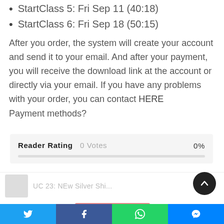StartClass 5: Fri Sep 11 (40:18)
StartClass 6: Fri Sep 18 (50:15)
After you order, the system will create your account and send it to your email. And after your payment, you will receive the download link at the account or directly via your email. If you have any problems with your order, you can contact HERE
Payment methods?
Reader Rating  0 Votes  0%
UC 23: NEw Silver Shi...